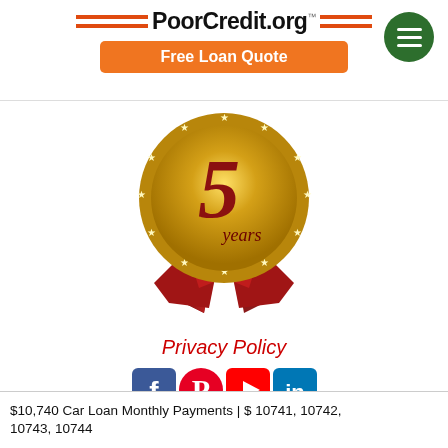[Figure (logo): PoorCredit.org logo with orange double-line decorations on each side, followed by an orange 'Free Loan Quote' button, and a green hamburger menu button in the top right.]
[Figure (illustration): Gold award medal/badge with '5 years' text, featuring a large red number 5 and decorative red ribbon below, with star border around the gold circle.]
Privacy Policy
[Figure (infographic): Social media icons: Facebook, Pinterest, YouTube, LinkedIn]
$10,740 Car Loan Monthly Payments | $ 10741, 10742, 10743, 10744